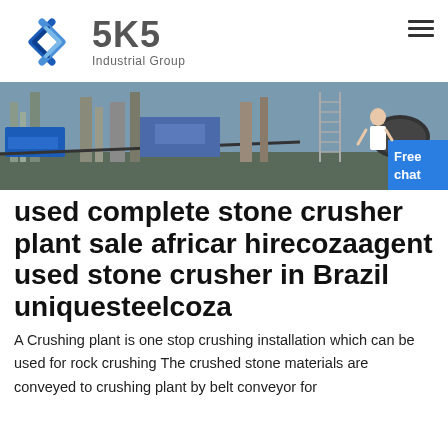[Figure (logo): SKS Industrial Group logo with blue diamond/arrow chevron icon and grey SKS text with Industrial Group subtitle]
[Figure (photo): Wide banner photo of an industrial stone crushing plant facility with blue machinery, conveyor belts, and steel structures]
used complete stone crusher plant sale africar hirecozaagent used stone crusher in Brazil uniquesteelcoza
A Crushing plant is one stop crushing installation which can be used for rock crushing The crushed stone materials are conveyed to crushing plant by belt conveyor for